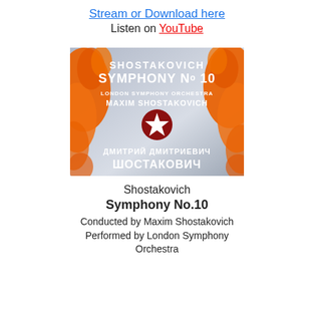Stream or Download here
Listen on YouTube
[Figure (photo): Album cover for Shostakovich Symphony No.10, London Symphony Orchestra, conducted by Maxim Shostakovich. Orange abstract paint splatters on grey background with white and black bold text, and a red star emblem in the center. Cyrillic text at the bottom reads Dmitri Dmitrievich Shostakovich.]
Shostakovich
Symphony No.10
Conducted by Maxim Shostakovich
Performed by London Symphony Orchestra